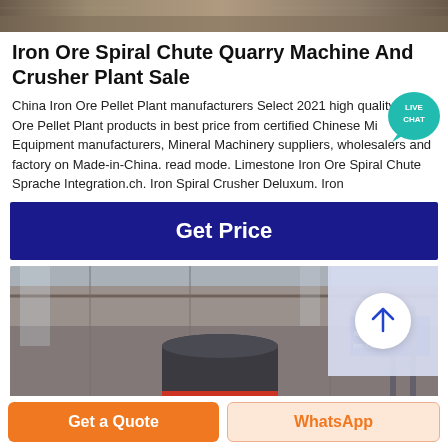[Figure (photo): Top banner photo of industrial machinery/quarry scene]
Iron Ore Spiral Chute Quarry Machine And Crusher Plant Sale
China Iron Ore Pellet Plant manufacturers Select 2021 high quality Iron Ore Pellet Plant products in best price from certified Chinese Mining Equipment manufacturers, Mineral Machinery suppliers, wholesalers and factory on Made-in-China. read mode. Limestone Iron Ore Spiral Chute Sprache Integration.ch. Iron Spiral Crusher Deluxum. Iron
[Figure (other): Live Chat badge - teal speech bubble with LIVE CHAT text]
[Figure (other): Get Price dark blue button]
[Figure (photo): Industrial machinery photo showing large cylindrical equipment in a factory/warehouse setting, with an overlay panel containing an up-arrow circle button]
[Figure (other): Bottom action bar with Get a Quote (orange) and WhatsApp (orange text on light) buttons]